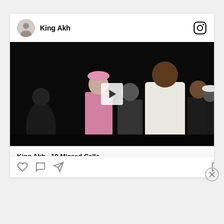[Figure (screenshot): Instagram post card from King Akh showing a video thumbnail with multiple people in a dark setting, a play button overlay, and a link preview for 'King Akh - 10 Missed Calls' with subtitle 'Watch The Full Video On YouTube'. Card includes profile avatar, username, Instagram icon, and footer action icons (like, comment, share, save).]